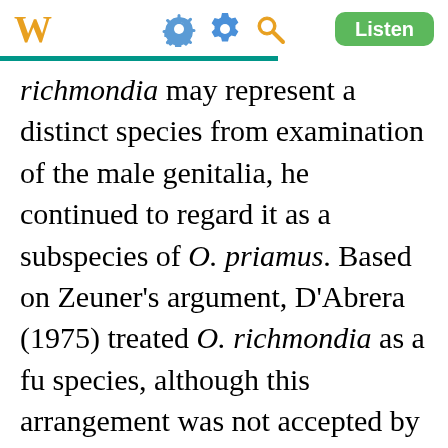W [settings icon] [search icon] Listen
richmondia may represent a distinct species from examination of the male genitalia, he continued to regard it as a subspecies of O. priamus. Based on Zeuner's argument, D'Abrera (1975) treated O. richmondia as a fu species, although this arrangement was not accepted by Haugum & Low (1971). Nonetheless, D'Abrera's treatment of O. richmondia as a distinct species has been followed by most Australian authors since (e